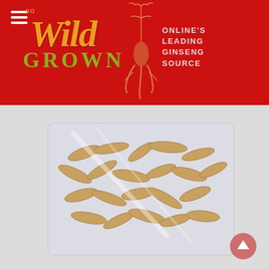[Figure (logo): Wild Grown logo on red background with hamburger menu icon, ginseng root illustration, and tagline 'ONLINE'S LEADING GINSENG SOURCE']
[Figure (photo): A clear plastic bag filled with dried ginseng roots on a light gray background]